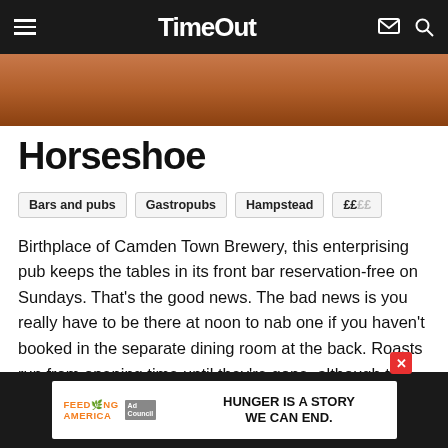TimeOut
[Figure (photo): Close-up of wooden surface with warm brown tones, hero image strip]
Horseshoe
Bars and pubs
Gastropubs
Hampstead
££££
Birthplace of Camden Town Brewery, this enterprising pub keeps the tables in its front bar reservation-free on Sundays. That's the good news. The bad news is you really have to be there at noon to nab one if you haven't booked in the separate dining room at the back. Roasts run from opening time until they're gone, although the centrepiece rare-breed meats such as dry-aged hereford beef sirloin or
[Figure (infographic): Advertisement banner: Feeding America Ad Council - HUNGER IS A STORY WE CAN END.]